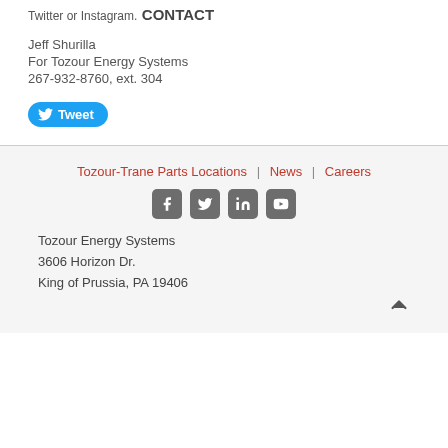Twitter or Instagram.
CONTACT
Jeff Shurilla
For Tozour Energy Systems
267-932-8760, ext. 304
[Figure (other): Tweet button with Twitter bird icon]
Tozour-Trane Parts Locations | News | Careers
Tozour Energy Systems
3606 Horizon Dr.
King of Prussia, PA 19406